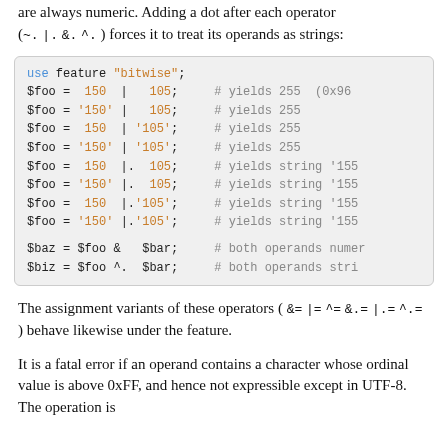are always numeric. Adding a dot after each operator (~. |. &. ^.) forces it to treat its operands as strings:
use feature "bitwise";
$foo =  150  |   105;    # yields 255  (0x96
$foo = '150' |   105;    # yields 255
$foo =  150  | '105';    # yields 255
$foo = '150' | '105';    # yields 255
$foo =  150  |.  105;    # yields string '155
$foo = '150' |.  105;    # yields string '155
$foo =  150  |.'105';    # yields string '155
$foo = '150' |.'105';    # yields string '155

$baz = $foo &   $bar;    # both operands numer
$biz = $foo ^.  $bar;    # both operands stri
The assignment variants of these operators ( &= |= ^= &.= |.= ^.= ) behave likewise under the feature.
It is a fatal error if an operand contains a character whose ordinal value is above 0xFF, and hence not expressible except in UTF-8. The operation is